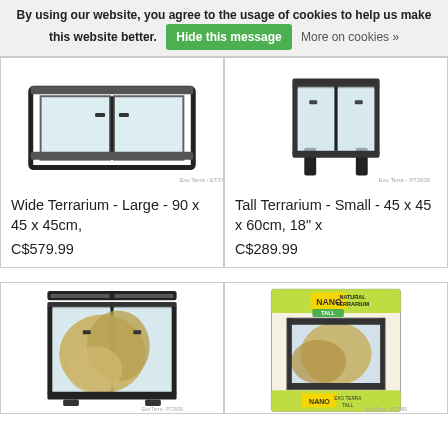By using our website, you agree to the usage of cookies to help us make this website better. Hide this message  More on cookies »
[Figure (photo): Wide Terrarium product image - glass enclosure viewed from above, black frame]
Wide Terrarium - Large - 90 x 45 x 45cm,
C$579.99
[Figure (photo): Tall Terrarium - Small product image - glass enclosure with black frame on stand]
Tall Terrarium - Small - 45 x 45 x 60cm, 18" x
C$289.99
[Figure (photo): Glass terrarium with black frame, containing rock background, front doors open]
[Figure (photo): Nano Natural Terrarium Tall - boxed product with green and yellow packaging showing glass terrarium with rock background]